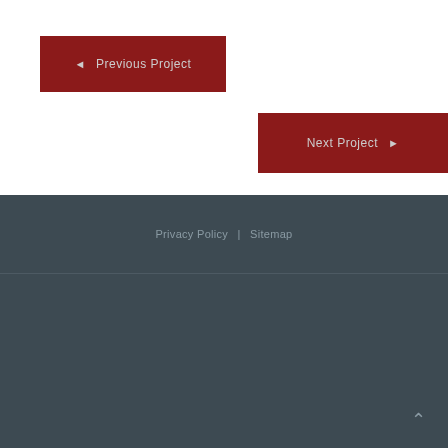[Figure (photo): Dark image strip at top of page showing outdoor kitchen or dark surface]
◄ Previous Project
Next Project ►
Privacy Policy | Sitemap
UNLIMITED OUTDOOR KITCHENS, 3530 CHARTER PARK DR, SAN JOSE, CA 95136, UNITED STATES | (888) 747-4554 | MICHAEL@UNLIMITEDOUTDOORKITCHEN.COM
Home | Build Your Outdoor Lifestyle | Our Company | Recent Projects | Blog | Contact | Request Your Free Estimate!